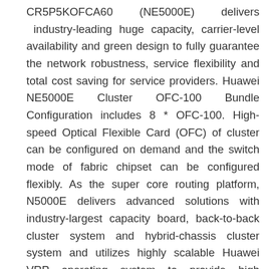CR5P5KOFCA60 (NE5000E) delivers industry-leading huge capacity, carrier-level availability and green design to fully guarantee the network robustness, service flexibility and total cost saving for service providers. Huawei NE5000E Cluster OFC-100 Bundle Configuration includes 8 * OFC-100. High-speed Optical Flexible Card (OFC) of cluster can be configured on demand and the switch mode of fabric chipset can be configured flexibly. As the super core routing platform, N5000E delivers advanced solutions with industry-largest capacity board, back-to-back cluster system and hybrid-chassis cluster system and utilizes highly scalable Huawei VRP operating system to provide high efficiency and high stability for internet backbone, metro core, internet data center and Internet bearer network.